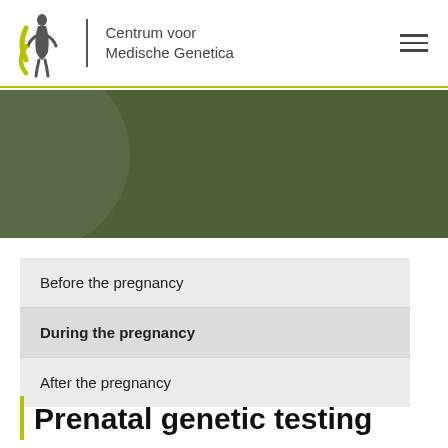Centrum voor Medische Genetica
[Figure (illustration): Green banner with a subtle large circle overlay, serving as a decorative header background for Centrum voor Medische Genetica website]
Before the pregnancy
During the pregnancy
After the pregnancy
Prenatal genetic testing